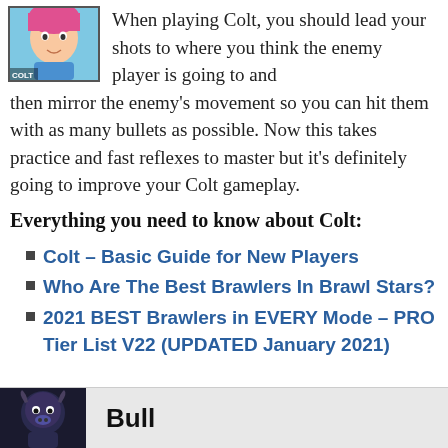[Figure (illustration): Colt character icon from Brawl Stars game, cartoon style with pink/red hair on blue background, with 'COLT' label at bottom left]
When playing Colt, you should lead your shots to where you think the enemy player is going to and then mirror the enemy's movement so you can hit them with as many bullets as possible. Now this takes practice and fast reflexes to master but it's definitely going to improve your Colt gameplay.
Everything you need to know about Colt:
Colt – Basic Guide for New Players
Who Are The Best Brawlers In Brawl Stars?
2021 BEST Brawlers in EVERY Mode – PRO Tier List V22 (UPDATED January 2021)
[Figure (illustration): Bull character icon from Brawl Stars game, dark background]
Bull